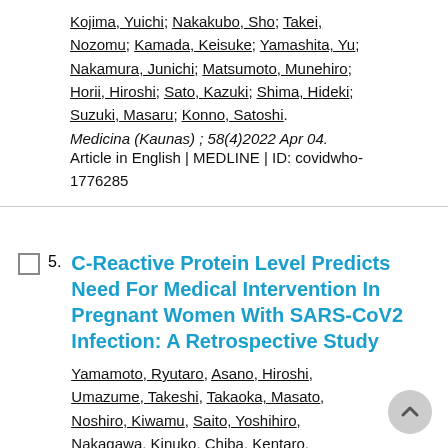Kojima, Yuichi; Nakakubo, Sho; Takei, Nozomu; Kamada, Keisuke; Yamashita, Yu; Nakamura, Junichi; Matsumoto, Munehiro; Horii, Hiroshi; Sato, Kazuki; Shima, Hideki; Suzuki, Masaru; Konno, Satoshi. Medicina (Kaunas) ; 58(4)2022 Apr 04. Article in English | MEDLINE | ID: covidwho-1776285
5. C-Reactive Protein Level Predicts Need For Medical Intervention In Pregnant Women With SARS-CoV2 Infection: A Retrospective Study
Yamamoto, Ryutaro, Asano, Hiroshi, Umazume, Takeshi, Takaoka, Masato, Noshiro, Kiwamu, Saito, Yoshihiro, Nakagawa, Kinuko, Chiba, Kentaro, Nakakubo, Sho, Nasuhara, Yasuyuki, Konno...